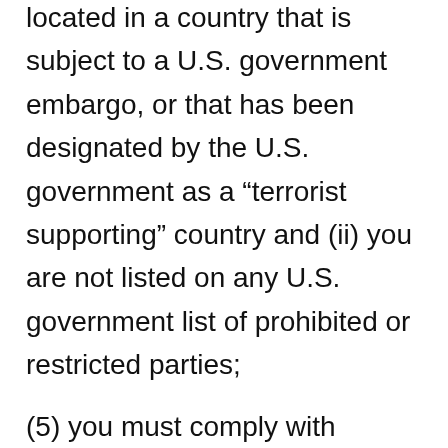located in a country that is subject to a U.S. government embargo, or that has been designated by the U.S. government as a “terrorist supporting” country and (ii) you are not listed on any U.S. government list of prohibited or restricted parties;
(5) you must comply with applicable third-party terms of agreement when using the mobile application, e.g., if you have a VoIP application, then you must not be in violation of their wireless data service agreement when using the mobile application;
(6) you acknowledge and agree that the App Distributors are third-party beneficiaries of the terms and conditions in this mobile application license